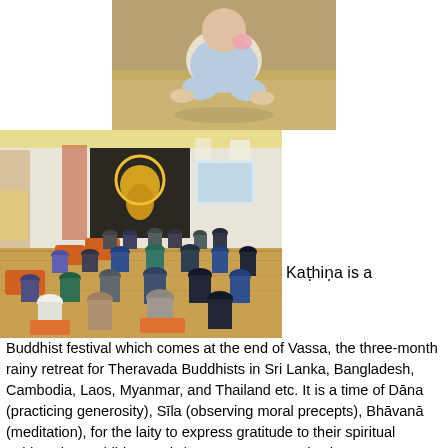[Figure (photo): Close-up photo of a baby sitting on a shiny floor, wearing light blue/white clothing, feet visible in foreground]
[Figure (photo): Interior of a Buddhist temple/meditation hall with people seated on the floor facing a golden Buddha statue and a monk speaking at the front; orange meditation cushions visible]
Kaṭhiṇa is a Buddhist festival which comes at the end of Vassa, the three-month rainy retreat for Theravada Buddhists in Sri Lanka, Bangladesh, Cambodia, Laos, Myanmar, and Thailand etc. It is a time of Dāna (practicing generosity), Sīla (observing moral precepts), Bhāvanā (meditation), for the laity to express gratitude to their spiritual guides, the Buddhist monks). Vassāna season is also very